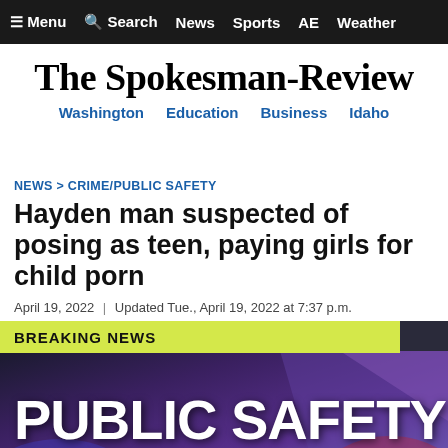≡ Menu   Search   News   Sports   AE   Weather
The Spokesman-Review
Washington   Education   Business   Idaho
NEWS > CRIME/PUBLIC SAFETY
Hayden man suspected of posing as teen, paying girls for child porn
April 19, 2022 | Updated Tue., April 19, 2022 at 7:37 p.m.
[Figure (photo): Breaking News banner with 'PUBLIC SAFETY' text on a dark purple/blue gradient background with police lights, and a yellow-green 'BREAKING NEWS' bar at top]